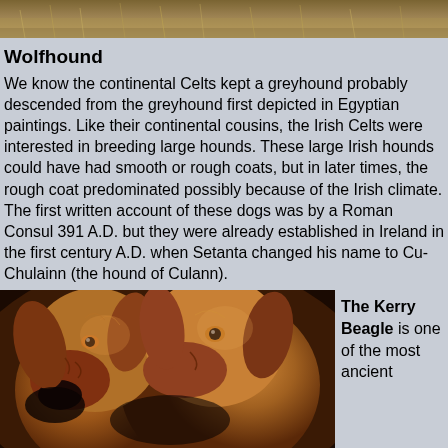[Figure (photo): Top portion of an outdoor photo showing dry grass/field background, partially cropped at top of page.]
Wolfhound
We know the continental Celts kept a greyhound probably descended from the greyhound first depicted in Egyptian paintings. Like their continental cousins, the Irish Celts were interested in breeding large hounds. These large Irish hounds could have had smooth or rough coats, but in later times, the rough coat predominated possibly because of the Irish climate. The first written account of these dogs was by a Roman Consul 391 A.D. but they were already established in Ireland in the first century A.D. when Setanta changed his name to Cu-Chulainn (the hound of Culann).
[Figure (photo): Painting/illustration of two Kerry Beagle dogs, reddish-brown hounds with drooping ears, shown in portrait style.]
The Kerry Beagle is one of the most ancient